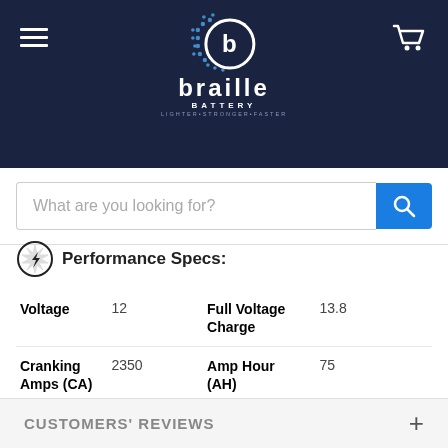[Figure (logo): Braille Battery logo with circular dot-matrix graphic and wordmark on dark navy background]
What are you looking for?
Performance Specs:
| Spec | Value | Spec | Value |
| --- | --- | --- | --- |
| Voltage | 12 | Full Voltage Charge | 13.8 |
| Cranking Amps (CA) | 2350 | Amp Hour (AH) | 75 |
| Reverse Capacity (RC) | 180 min | Life Cycle (50%DOD) | 6000+ |
CUSTOMERS' REVIEWS